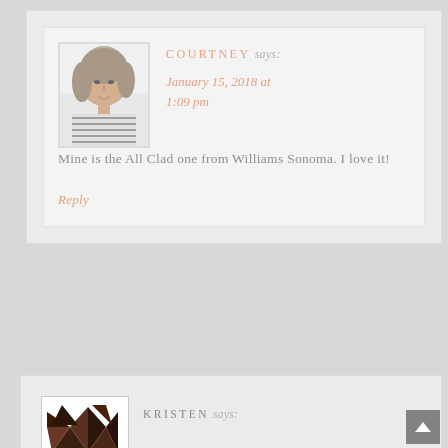[Figure (photo): Black and white photo of a woman smiling, with wavy hair, wearing a striped top]
COURTNEY says:
January 15, 2018 at 1:09 pm
Mine is the All Clad one from Williams Sonoma. I love it!
Reply
[Figure (logo): Abstract geometric avatar icon with dark brown triangular pattern on white background]
KRISTEN says: